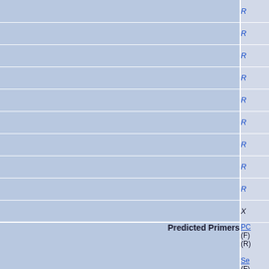|  |  |
| --- | --- |
|  | R |
|  | R |
|  | R |
|  | R |
|  | R |
|  | R |
|  | R |
|  | R |
|  | R |
|  | R |
|  | X |
| Predicted Primers | PC
(F)
(R)

Se
(F)
(R) |
| Posted On | 20 |